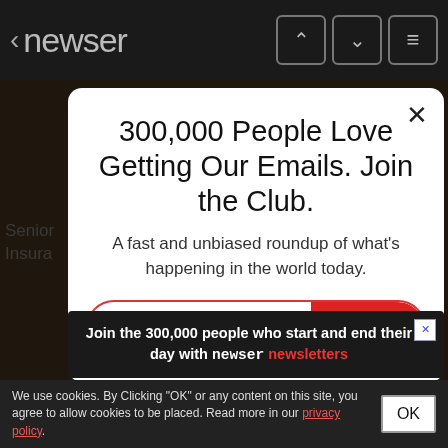< newser
300,000 People Love Getting Our Emails. Join the Club.
A fast and unbiased roundup of what's happening in the world today.
[Figure (screenshot): Email signup form with input field labeled 'your email address' and red SIGN UP button]
[Figure (infographic): Advertisement banner: 'Join the 300,000 people who start and end their day with newser newsletters']
We use cookies. By Clicking "OK" or any content on this site, you agree to allow cookies to be placed. Read more in our privacy policy.